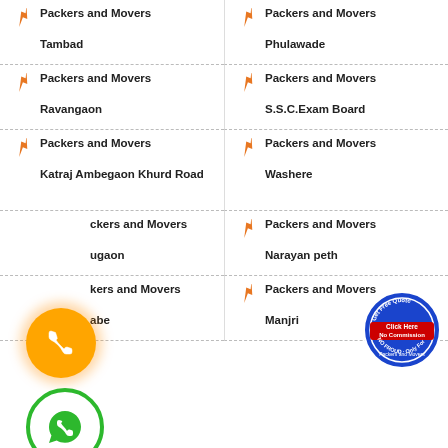Packers and Movers Tambad
Packers and Movers Phulawade
Packers and Movers Ravangaon
Packers and Movers S.S.C.Exam Board
Packers and Movers Katraj Ambegaon Khurd Road
Packers and Movers Washere
Packers and Movers Dhugaon
Packers and Movers Narayan peth
Packers and Movers Warje
Packers and Movers Manjri
[Figure (illustration): Orange circle phone button with phone handset icon]
[Figure (illustration): Green circle WhatsApp phone button]
[Figure (illustration): Get Free Quote badge - blue/red circular badge with Click Here, No Commission, No Fraud text]